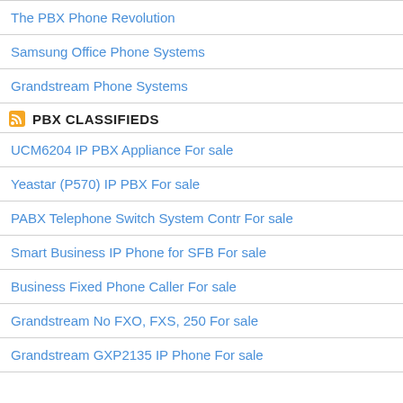The PBX Phone Revolution
Samsung Office Phone Systems
Grandstream Phone Systems
PBX CLASSIFIEDS
UCM6204 IP PBX Appliance For sale
Yeastar (P570) IP PBX For sale
PABX Telephone Switch System Contr For sale
Smart Business IP Phone for SFB For sale
Business Fixed Phone Caller For sale
Grandstream No FXO, FXS, 250 For sale
Grandstream GXP2135 IP Phone For sale